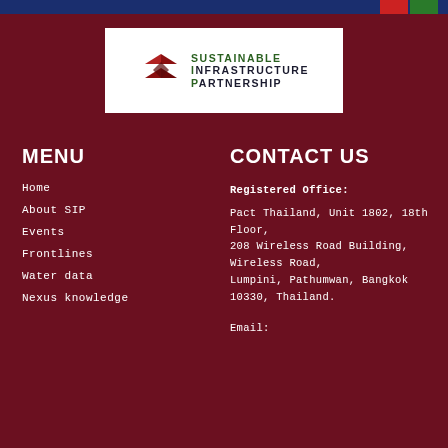[Figure (logo): Sustainable Infrastructure Partnership logo with stylized double arrow icon in red/dark red and text reading SUSTAINABLE INFRASTRUCTURE PARTNERSHIP in green and dark navy]
MENU
Home
About SIP
Events
Frontlines
Water data
Nexus knowledge
CONTACT US
Registered Office:
Pact Thailand, Unit 1802, 18th Floor,
208 Wireless Road Building,
Wireless Road,
Lumpini, Pathumwan, Bangkok 10330, Thailand.
Email: